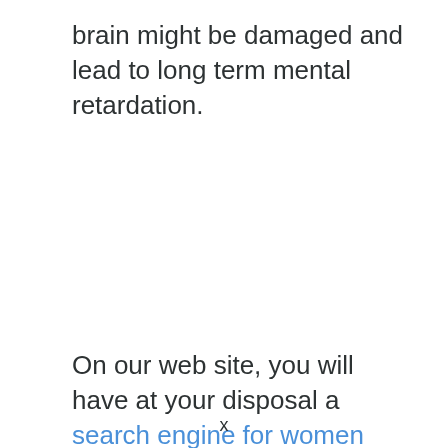brain might be damaged and lead to long term mental retardation.
On our web site, you will have at your disposal a search engine for women when
x